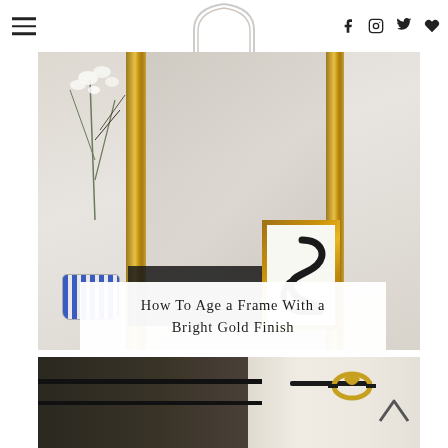Navigation header with hamburger menu, logo area, and social icons (Facebook, Instagram, Twitter, heart/save)
[Figure (photo): Interior decor photo showing a large ornate gold-framed mirror, white orchid flowers in a blue and white striped vase, and a smaller gold-framed artwork with black brushstroke design on white background]
How To Age a Frame With a Bright Gold Finish
[Figure (photo): Partial interior photo showing a curtain rod with gold decorative knot finial, cream/ivory curtains, and dark horizontal elements]